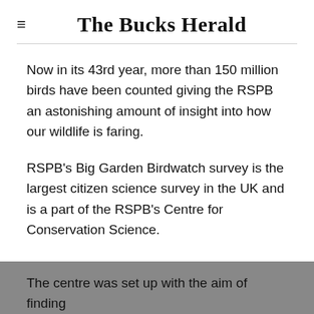The Bucks Herald
Now in its 43rd year, more than 150 million birds have been counted giving the RSPB an astonishing amount of insight into how our wildlife is faring.
RSPB's Big Garden Birdwatch survey is the largest citizen science survey in the UK and is a part of the RSPB's Centre for Conservation Science.
The centre was set up with the aim of finding